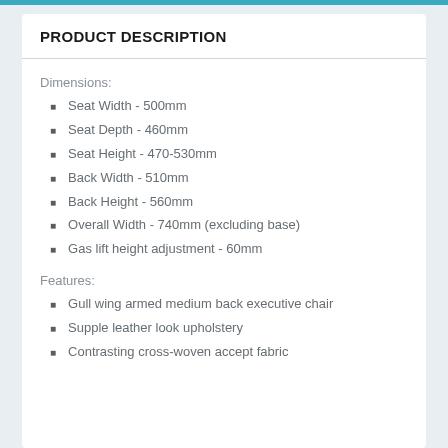PRODUCT DESCRIPTION
Dimensions:
Seat Width - 500mm
Seat Depth - 460mm
Seat Height - 470-530mm
Back Width - 510mm
Back Height - 560mm
Overall Width - 740mm (excluding base)
Gas lift height adjustment - 60mm
Features:
Gull wing armed medium back executive chair
Supple leather look upholstery
Contrasting cross-woven accept fabric